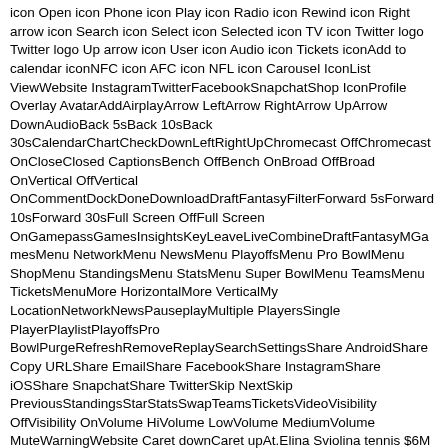icon Open icon Phone icon Play icon Radio icon Rewind icon Right arrow icon Search icon Select icon Selected icon TV icon Twitter logo Twitter logo Up arrow icon User icon Audio icon Tickets iconAdd to calendar iconNFC icon AFC icon NFL icon Carousel IconList ViewWebsite InstagramTwitterFacebookSnapchatShop IconProfile Overlay AvatarAddAirplayArrow LeftArrow RightArrow UpArrow DownAudioBack 5sBack 10sBack 30sCalendarChartCheckDownLeftRightUpChromecast OffChromecast OnCloseClosed CaptionsBench OffBench OnBroad OffBroad OnVertical OffVertical OnCommentDockDoneDownloadDraftFantasyFilterForward 5sForward 10sForward 30sFull Screen OffFull Screen OnGamepassGamesInsightsKeyLeaveLiveCombineDraftFantasyMGamesMenu NetworkMenu NewsMenu PlayoffsMenu Pro BowlMenu ShopMenu StandingsMenu StatsMenu Super BowlMenu TeamsMenu TicketsMenuMore HorizontalMore VerticalMy LocationNetworkNewsPauseplayMultiple PlayersSingle PlayerPlaylistPlayoffsPro BowlPurgeRefreshRemoveReplaySearchSettingsShare AndroidShare Copy URLShare EmailShare FacebookShare InstagramShare iOSShare SnapchatShare TwitterSkip NextSkip PreviousStandingsStarStatsSwapTeamsTicketsVideoVisibility OffVisibility OnVolume HiVolume LowVolume MediumVolume MuteWarningWebsite Caret downCaret upAt.Elina Sviolina tennis $6M 8.The 2020 NFL Draft will be in Las Vegas.Just how good was Huerter at the combine?
Young incorrectly says DeMarcus Cousins and LeBron